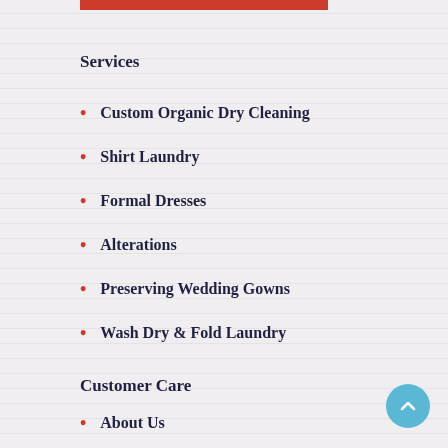Services
Custom Organic Dry Cleaning
Shirt Laundry
Formal Dresses
Alterations
Preserving Wedding Gowns
Wash Dry & Fold Laundry
Customer Care
About Us
Contact Us